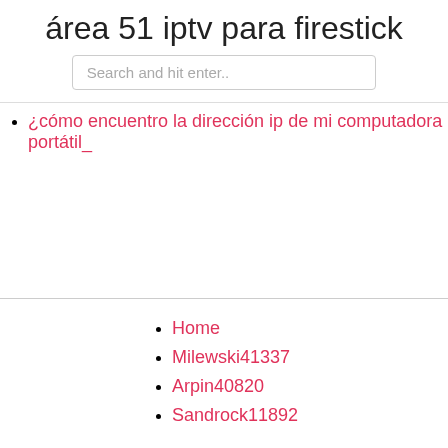área 51 iptv para firestick
Search and hit enter..
¿cómo encuentro la dirección ip de mi computadora portátil_
Home
Milewski41337
Arpin40820
Sandrock11892